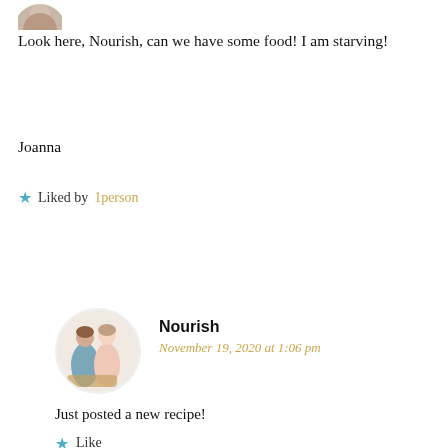[Figure (photo): Partial circular avatar photo cropped at top of page]
Look here, Nourish, can we have some food! I am starving!
Joanna
★ Liked by 1person
REPLY
[Figure (photo): Circular avatar photo of two women in a kitchen setting]
Nourish
November 19, 2020 at 1:06 pm
Just posted a new recipe!
★ Like